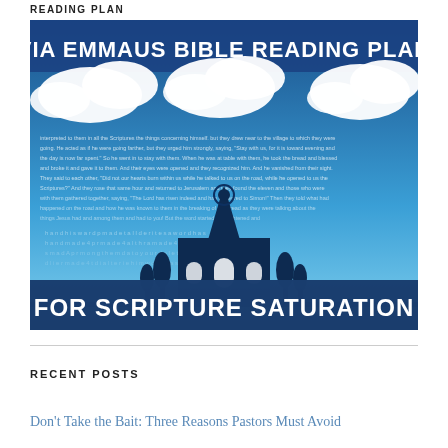READING PLAN
[Figure (illustration): Via Emmaus Bible Reading Plan for Scripture Saturation — illustrated book cover/poster with a blue-toned church silhouette against a sky with white clouds, surrounded by Bible text, with bold white text reading 'VIA EMMAUS BIBLE READING PLAN' at the top and 'FOR SCRIPTURE SATURATION' at the bottom on a dark blue banner.]
RECENT POSTS
Don't Take the Bait: Three Reasons Pastors Must Avoid